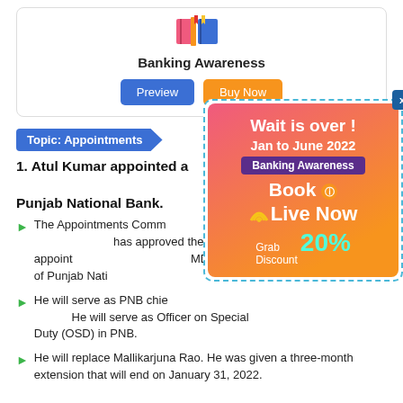[Figure (illustration): Colorful book/education icons at top of card]
Banking Awareness
[Figure (screenshot): Preview and Buy Now buttons in card]
Topic: Appointments
1. Atul Kumar appointed as MD & CEO of Punjab National Bank.
The Appointments Committee has approved the appointment of Atul Kumar as MD & CEO of Punjab National Bank.
He will serve as PNB chief. He will serve as Officer on Special Duty (OSD) in PNB.
He will replace Mallikarjuna Rao. He was given a three-month extension that will end on January 31, 2022.
[Figure (infographic): Ad popup: Wait is over! Jan to June 2022, Banking Awareness Book is Live Now, Grab Discount 20%]